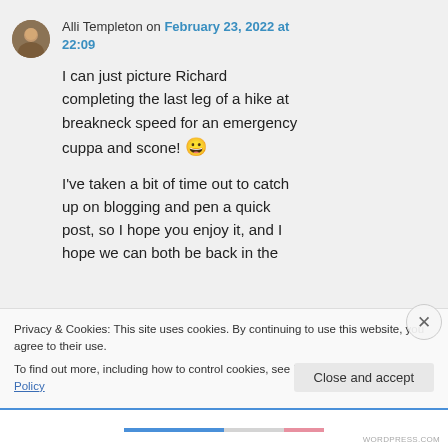Alli Templeton on February 23, 2022 at 22:09
I can just picture Richard completing the last leg of a hike at breakneck speed for an emergency cuppa and scone! 😀
I've taken a bit of time out to catch up on blogging and pen a quick post, so I hope you enjoy it, and I hope we can both be back in the
Privacy & Cookies: This site uses cookies. By continuing to use this website, you agree to their use.
To find out more, including how to control cookies, see here: Cookie Policy
Close and accept